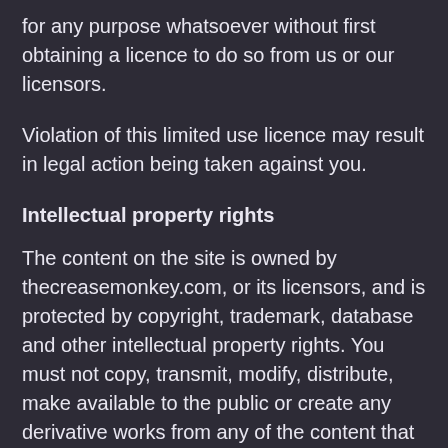for any purpose whatsoever without first obtaining a licence to do so from us or our licensors.
Violation of this limited use licence may result in legal action being taken against you.
Intellectual property rights
The content on the site is owned by thecreasemonkey.com, or its licensors, and is protected by copyright, trademark, database and other intellectual property rights. You must not copy, transmit, modify, distribute, make available to the public or create any derivative works from any of the content that you find on the site.
Reliance on information posted
Commentary and other materials posted on our site